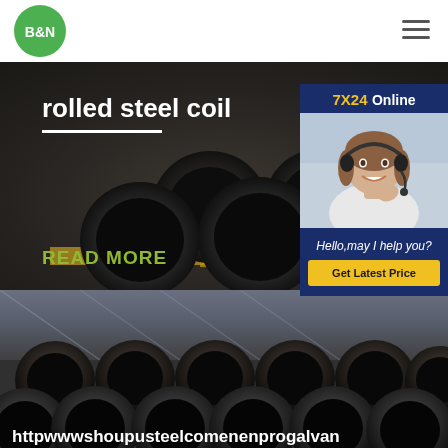[Figure (logo): B&N company logo — green circle with white bold text B&N]
[Figure (photo): Hamburger menu icon with three horizontal dark lines]
[Figure (photo): Dark industrial background showing rolled steel coil pipes stacked horizontally, with text overlay 'rolled steel coil' and 'READ MORE']
[Figure (photo): Customer service agent widget showing: '7X24 Online' header, photo of smiling woman with headset, text 'Hello,may I help you?', and 'Get Latest Price' yellow button]
[Figure (photo): Dark industrial photo showing stacked black steel pipes from front cross-section view, with URL text 'httpwwwshoupusteelcomenenprogalvan']